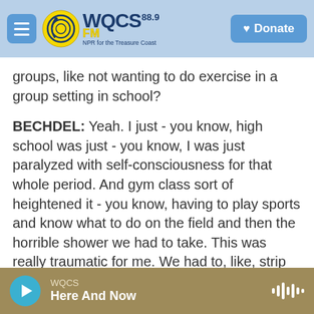WQCS 88.9 FM — NPR for the Treasure Coast | Donate
groups, like not wanting to do exercise in a group setting in school?
BECHDEL: Yeah. I just - you know, high school was just - you know, I was just paralyzed with self-consciousness for that whole period. And gym class sort of heightened it - you know, having to play sports and know what to do on the field and then the horrible shower we had to take. This was really traumatic for me. We had to, like, strip down and take showers as part of our gym class. I think - I feel like this doesn't happen so much in schools. They've realized how barbaric that was, and kids
WQCS | Here And Now